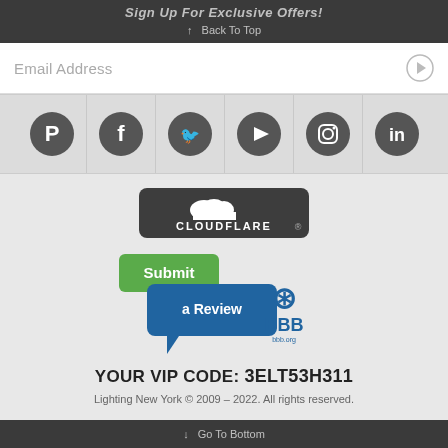Sign Up For Exclusive Offers! ↑ Back To Top
Email Address
[Figure (illustration): Social media icons row: Pinterest, Facebook, Twitter, YouTube, Instagram, LinkedIn — dark circular icons on grey background]
[Figure (logo): Cloudflare badge/logo — dark rounded rectangle with cloud icon and CLOUDFLARE text]
[Figure (logo): BBB Better Business Bureau badge with Submit a Review button in green and blue speech bubble]
YOUR VIP CODE: 3ELT53H311
Lighting New York © 2009 – 2022. All rights reserved.
↓ Go To Bottom